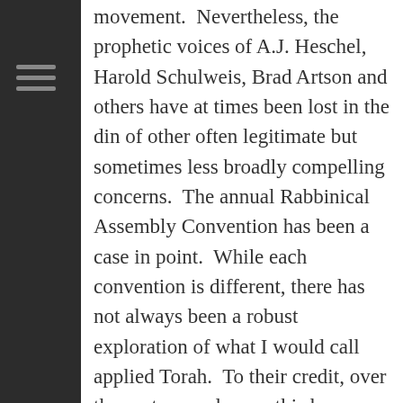movement.  Nevertheless, the prophetic voices of A.J. Heschel, Harold Schulweis, Brad Artson and others have at times been lost in the din of other often legitimate but sometimes less broadly compelling concerns.  The annual Rabbinical Assembly Convention has been a case in point.  While each convention is different, there has not always been a robust exploration of what I would call applied Torah.  To their credit, over the past several years this has begun to change, the most recent manifestation being the February RA here in Baltimore.
I was invited to speak to my colleagues, hailing from
[Figure (photo): A man in a pink/salmon shirt standing at a microphone, speaking, photographed from the side in a white room. A green exit sign is visible in the upper right corner.]